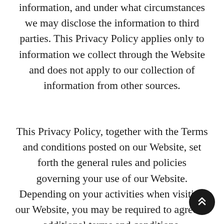information, and under what circumstances we may disclose the information to third parties. This Privacy Policy applies only to information we collect through the Website and does not apply to our collection of information from other sources.
This Privacy Policy, together with the Terms and conditions posted on our Website, set forth the general rules and policies governing your use of our Website. Depending on your activities when visiting our Website, you may be required to agree to additional terms and conditions.